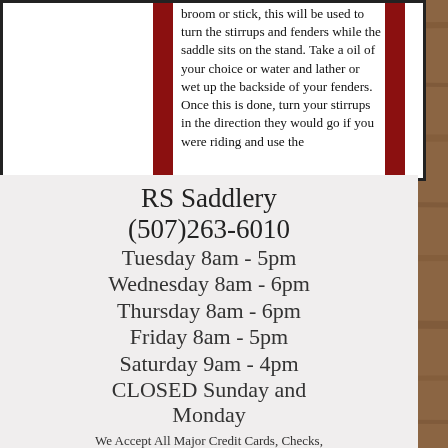broom or stick, this will be used to turn the stirrups and fenders while the saddle sits on the stand. Take a oil of your choice or water and lather or wet up the backside of your fenders. Once this is done, turn your stirrups in the direction they would go if you were riding and use the
RS Saddlery
(507)263-6010
Tuesday 8am - 5pm
Wednesday 8am - 6pm
Thursday 8am - 6pm
Friday 8am - 5pm
Saturday 9am - 4pm
CLOSED Sunday and Monday
We Accept All Major Credit Cards, Checks, and PayPal